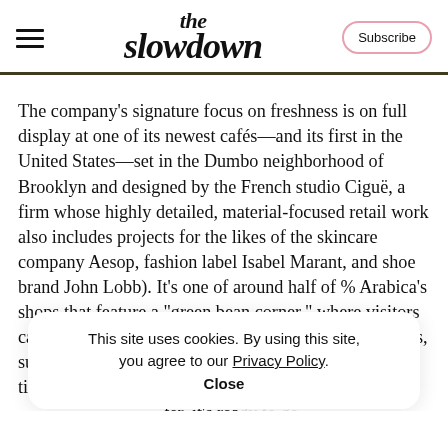the slowdown | Subscribe
The company's signature focus on freshness is on full display at one of its newest cafés—and its first in the United States—set in the Dumbo neighborhood of Brooklyn and designed by the French studio Ciguë, a firm whose highly detailed, material-focused retail work also includes projects for the likes of the skincare company Aesop, fashion label Isabel Marant, and shoe brand John Lobb). It's one of around half of % Arabica's shops that feature a "green bean corner," where visitors can choose unroasted beans from a handful of countries, such as Uganda and Ethiopia. that change based on the time of year. [cookie overlay] cust[omers can have their beans roast]ter, it's rea[dy...]
This site uses cookies. By using this site, you agree to our Privacy Policy.
Close